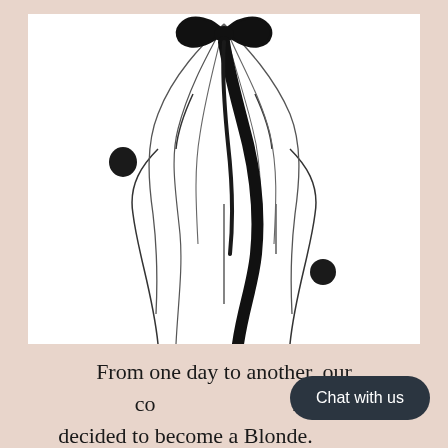[Figure (illustration): Line drawing illustration of the back of a woman's head and shoulders with long wavy hair tied with a large black bow ribbon. Two small black ink blot marks appear on the illustration, one on the left side and one at the lower right.]
From one day to another, our co... ne decided to become a Blonde. ... doesn't regret as becoming blonde helped her